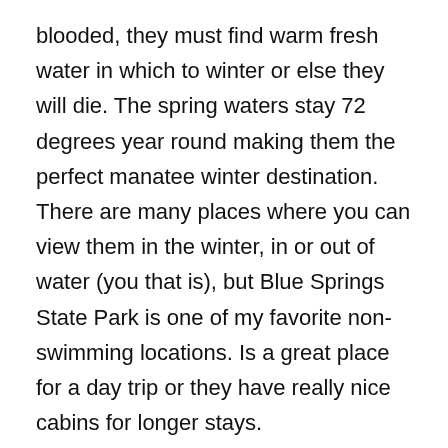blooded, they must find warm fresh water in which to winter or else they will die. The spring waters stay 72 degrees year round making them the perfect manatee winter destination. There are many places where you can view them in the winter, in or out of water (you that is), but Blue Springs State Park is one of my favorite non-swimming locations. Is a great place for a day trip or they have really nice cabins for longer stays.
So if you live in or a are visiting Florida this winter, be sure to make time for manatees in your plans. Remember, be sure that the weather has been cold so lots of manatee will be up in